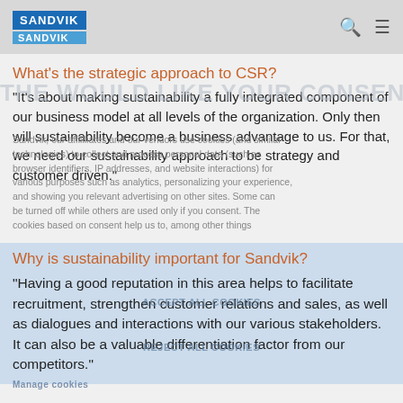SANDVIK
What's the strategic approach to CSR?
"It's about making sustainability a fully integrated component of our business model at all levels of the organization. Only then will sustainability become a business advantage to us. For that, we need our sustainability approach to be strategy and customer driven."
Why is sustainability important for Sandvik?
"Having a good reputation in this area helps to facilitate recruitment, strengthen customer relations and sales, as well as dialogues and interactions with our various stakeholders. It can also be a valuable differentiation factor from our competitors."